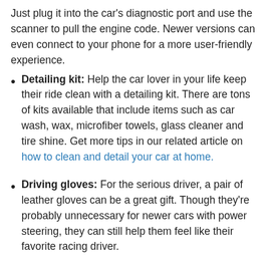Just plug it into the car's diagnostic port and use the scanner to pull the engine code. Newer versions can even connect to your phone for a more user-friendly experience.
Detailing kit: Help the car lover in your life keep their ride clean with a detailing kit. There are tons of kits available that include items such as car wash, wax, microfiber towels, glass cleaner and tire shine. Get more tips in our related article on how to clean and detail your car at home.
Driving gloves: For the serious driver, a pair of leather gloves can be a great gift. Though they're probably unnecessary for newer cars with power steering, they can still help them feel like their favorite racing driver.